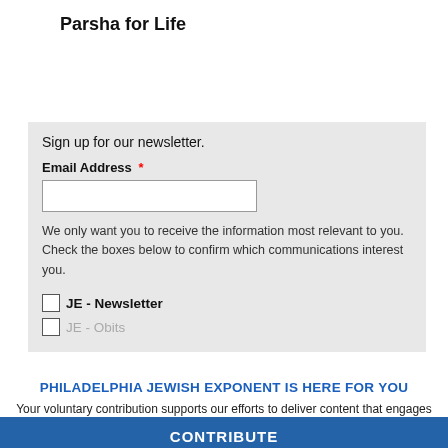Parsha for Life
View Calendar
Sign up for our newsletter.
Email Address *
We only want you to receive the information most relevant to you. Check the boxes below to confirm which communications interest you.
JE - Newsletter
JE - Obits
PHILADELPHIA JEWISH EXPONENT IS HERE FOR YOU
Your voluntary contribution supports our efforts to deliver content that engages and helps strengthen the Jewish community in the Philadelphia area.
CONTRIBUTE